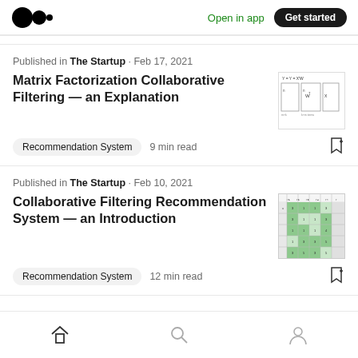Open in app  Get started
Published in The Startup · Feb 17, 2021
Matrix Factorization Collaborative Filtering — an Explanation
[Figure (math-figure): Mathematical diagram showing matrix factorization notation Y = Y = X'W with matrix boxes]
Recommendation System  9 min read
Published in The Startup · Feb 10, 2021
Collaborative Filtering Recommendation System — an Introduction
[Figure (table-as-image): Green-colored matrix/table with numbers representing collaborative filtering data]
Recommendation System  12 min read
Home  Search  Profile